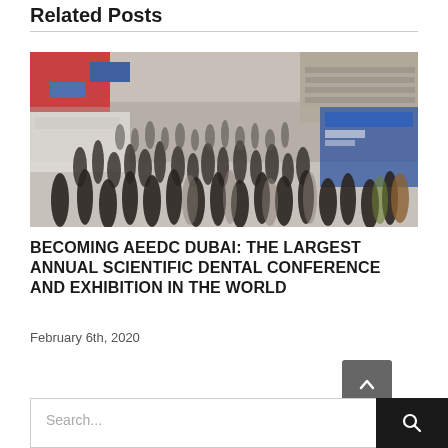Related Posts
[Figure (photo): Aerial view of a large crowded conference exhibition hall with many attendees walking around booths and displays]
BECOMING AEEDC DUBAI: THE LARGEST ANNUAL SCIENTIFIC DENTAL CONFERENCE AND EXHIBITION IN THE WORLD
February 6th, 2020